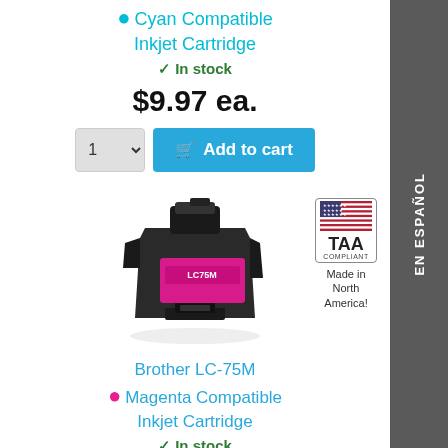● Cyan Compatible Inkjet Cartridge
✓ In stock
$9.97 ea.
[Figure (screenshot): Quantity selector dropdown showing '1' and a blue 'Add to cart' button with cart icon]
[Figure (photo): Brother LC-75M Magenta Compatible Inkjet Cartridge product photo, black plastic cartridge with magenta ink window, labeled LC75M]
[Figure (logo): TAA Compliant badge with US flag graphic, text reads TAA COMPLIANT and Made in North America!]
Brother LC-75M
● Magenta Compatible Inkjet Cartridge
✓ In stock
$9.97 ea.
EN ESPAÑOL